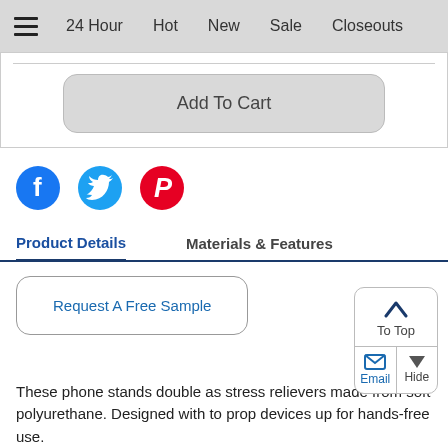≡  24 Hour  Hot  New  Sale  Closeouts
Add To Cart
[Figure (illustration): Social media icons: Facebook (blue circle with f), Twitter (blue bird), Pinterest (red circle with P)]
Product Details
Materials & Features
Request A Free Sample
These phone stands double as stress relievers made from soft polyurethane. Designed with to prop devices up for hands-free use.